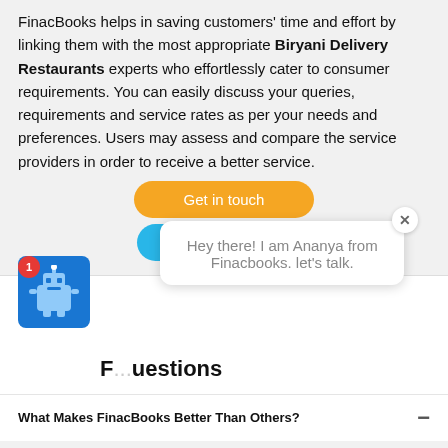FinacBooks helps in saving customers' time and effort by linking them with the most appropriate Biryani Delivery Restaurants experts who effortlessly cater to consumer requirements. You can easily discuss your queries, requirements and service rates as per your needs and preferences. Users may assess and compare the service providers in order to receive a better service.
Get in touch
Read more
[Figure (screenshot): Chat widget with robot avatar, red badge with '1', and speech bubble: 'Hey there! I am Ananya from Finacbooks. let's talk.' with a close button.]
F...uestions
What Makes FinacBooks Better Than Others?